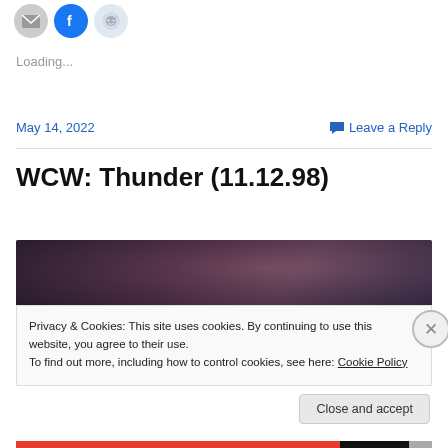[Figure (other): Social share icons: email (gray circle), Facebook (blue circle with f), Reddit (light blue circle with alien mascot)]
Loading...
May 14, 2022
💬 Leave a Reply
WCW: Thunder (11.12.98)
[Figure (photo): Dark smoky/cloudy background image, top portion of a wrestling show thumbnail]
Privacy & Cookies: This site uses cookies. By continuing to use this website, you agree to their use.
To find out more, including how to control cookies, see here: Cookie Policy
Close and accept